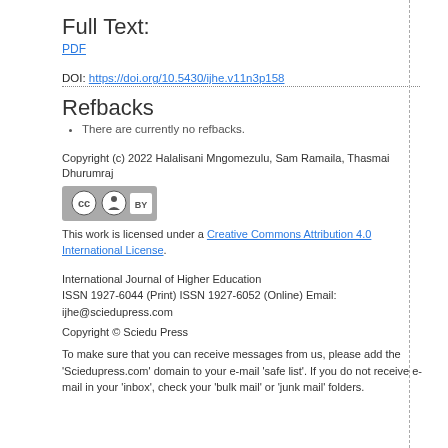Full Text:
PDF
DOI: https://doi.org/10.5430/ijhe.v11n3p158
Refbacks
There are currently no refbacks.
Copyright (c) 2022 Halalisani Mngomezulu, Sam Ramaila, Thasmai Dhurumraj
[Figure (logo): Creative Commons Attribution (CC BY) license badge]
This work is licensed under a Creative Commons Attribution 4.0 International License.
International Journal of Higher Education
ISSN 1927-6044 (Print) ISSN 1927-6052 (Online) Email: ijhe@sciedupress.com
Copyright © Sciedu Press
To make sure that you can receive messages from us, please add the 'Sciedupress.com' domain to your e-mail 'safe list'. If you do not receive e-mail in your 'inbox', check your 'bulk mail' or 'junk mail' folders.